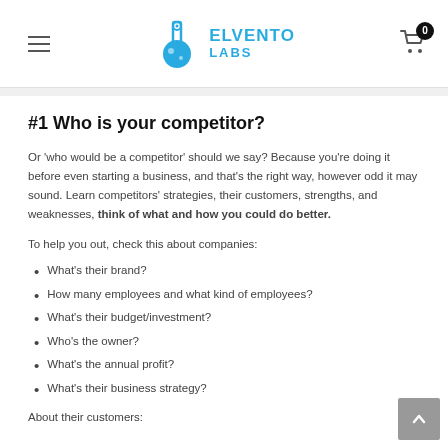Elvento Labs
#1 Who is your competitor?
Or 'who would be a competitor' should we say? Because you're doing it before even starting a business, and that's the right way, however odd it may sound. Learn competitors' strategies, their customers, strengths, and weaknesses, think of what and how you could do better.
To help you out, check this about companies:
What's their brand?
How many employees and what kind of employees?
What's their budget/investment?
Who's the owner?
What's the annual profit?
What's their business strategy?
About their customers: